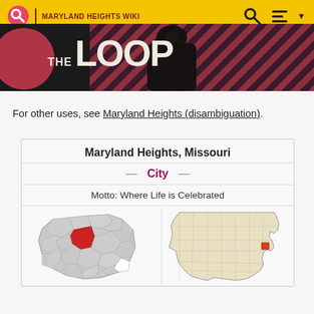[Figure (screenshot): Fandom wiki website header with yellow background, search and menu icons, and 'THE LOOP' banner below with dark background and red/pink stripe pattern]
For other uses, see Maryland Heights (disambiguation).
Maryland Heights, Missouri
— City —
Motto: Where Life is Celebrated
[Figure (map): Two maps side by side: left map shows Maryland Heights highlighted in red within St. Louis County, Missouri; right map shows Missouri state with a small highlighted area in the eastern region]